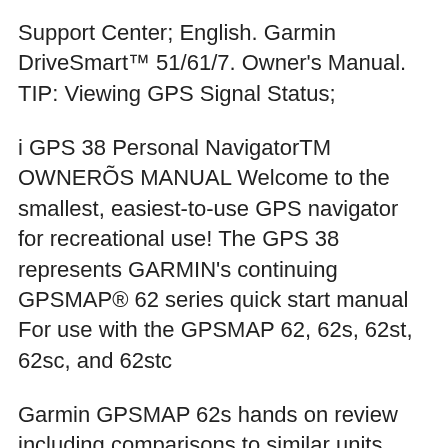Support Center; English. Garmin DriveSmart™ 51/61/7. Owner's Manual. TIP: Viewing GPS Signal Status;
i GPS 38 Personal NavigatorTM OWNERÕS MANUAL Welcome to the smallest, easiest-to-use GPS navigator for recreational use! The GPS 38 represents GARMIN's continuing GPSMAP® 62 series quick start manual For use with the GPSMAP 62, 62s, 62st, 62sc, and 62stc
Garmin GPSMAP 62s hands on review including comparisons to similar units, price comparisons, links to owners manual, message forums and more 2012-12-19 · garmin gps sistem